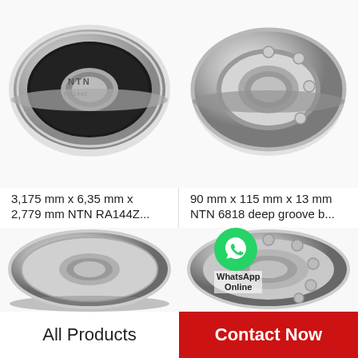[Figure (photo): NTN RA144Z small ball bearing, black rubber sealed, viewed at angle, metallic silver outer ring]
[Figure (photo): NTN 6818 deep groove ball bearing, open type, silver metallic, viewed at angle]
3,175 mm x 6,35 mm x 2,779 mm NTN RA144Z...
90 mm x 115 mm x 13 mm NTN 6818 deep groove b...
[Figure (photo): Large ball bearing, shielded with metal cover, front-face view, metallic gray]
[Figure (photo): Large open ball bearing, metallic, balls visible, front-face view]
All Products
Contact Now